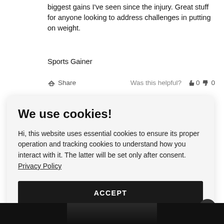biggest gains I've seen since the injury. Great stuff for anyone looking to address challenges in putting on weight.
Sports Gainer
Share   Was this helpful?  👍 0  👎 0
We use cookies!
Hi, this website uses essential cookies to ensure its proper operation and tracking cookies to understand how you interact with it. The latter will be set only after consent. Privacy Policy
ACCEPT